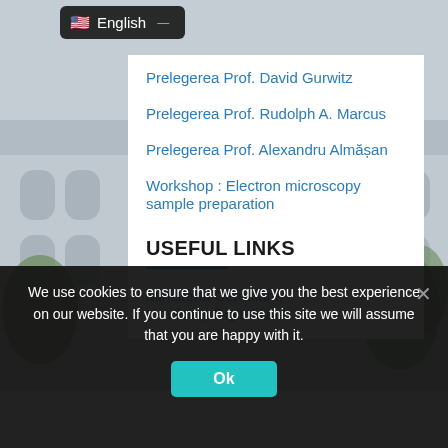[Figure (screenshot): University building background photo with grey/blue tones]
English
Prelegerea Prof. David Gurwitz
Prelegerea Prof. Rudolph A. Marcus
Prelegerea Prof. Alexandru Almășan
Workshop : Electron microscopy sample preparation
USEFUL LINKS
Ministerul Cercetării, Inovării și Digitalizării
We use cookies to ensure that we give you the best experience on our website. If you continue to use this site we will assume that you are happy with it.